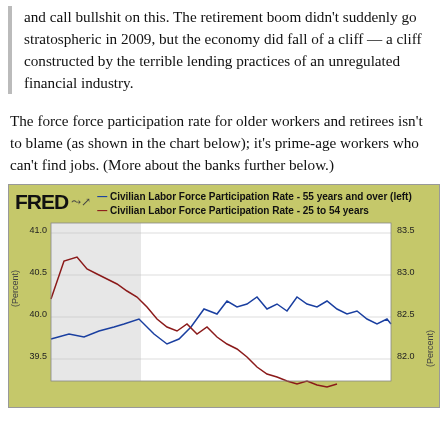and call bullshit on this. The retirement boom didn't suddenly go stratospheric in 2009, but the economy did fall of a cliff — a cliff constructed by the terrible lending practices of an unregulated financial industry.
The force force participation rate for older workers and retirees isn't to blame (as shown in the chart below); it's prime-age workers who can't find jobs. (More about the banks further below.)
[Figure (line-chart): FRED dual-axis line chart showing Civilian Labor Force Participation Rate for 55 years and over (left axis, blue line) and 25 to 54 years (right axis, red line). Left axis ranges from 39.5 to 41.0 percent, right axis from 82.0 to 83.5 percent. Blue line trends upward overall; red line peaks early then declines sharply at the end.]